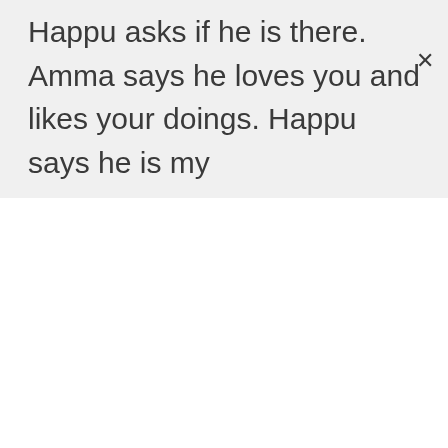Happu asks if he is there. Amma says he loves you and likes your doings. Happu says he is my